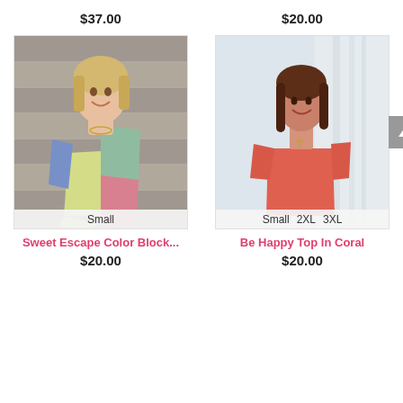$37.00
$20.00
[Figure (photo): Woman wearing a color block top in yellow, green, pink, and blue, smiling in front of a gray wood wall background]
Small
Sweet Escape Color Block...
$20.00
[Figure (photo): Woman wearing a coral short-sleeve top, smiling in a bright room with white curtains]
Small  2XL  3XL
Be Happy Top In Coral
$20.00